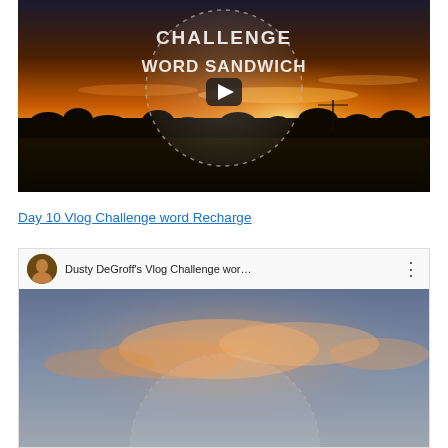[Figure (screenshot): Video thumbnail showing a sunset landscape with text 'CHALLENGE WORD SANDWICH' overlaid on a dashed circle with a play button]
Day 10 Vlog Challenge word Recharge
[Figure (screenshot): YouTube video embed showing 'Dusty DeGroff's Vlog Challenge wor...' with channel avatar, title bar, and a sky with clouds thumbnail below]